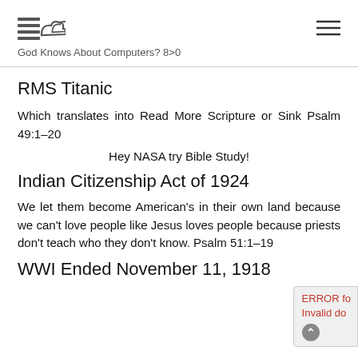God Knows About Computers? 8>0
RMS Titanic
Which translates into Read More Scripture or Sink Psalm 49:1–20
Hey NASA try Bible Study!
Indian Citizenship Act of 1924
We let them become American's in their own land because we can't love people like Jesus loves people because priests don't teach who they don't know. Psalm 51:1–19
WWI Ended November 11, 1918